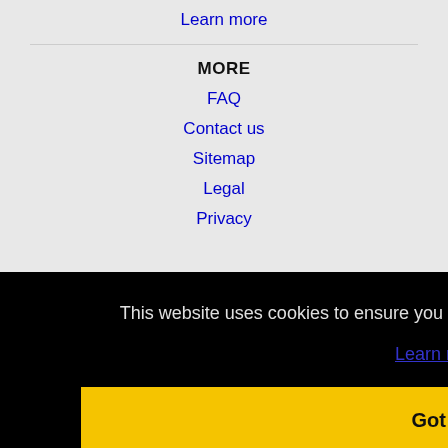Learn more
MORE
FAQ
Contact us
Sitemap
Legal
Privacy
This website uses cookies to ensure you get the best experience on our website.
Learn more
Got it!